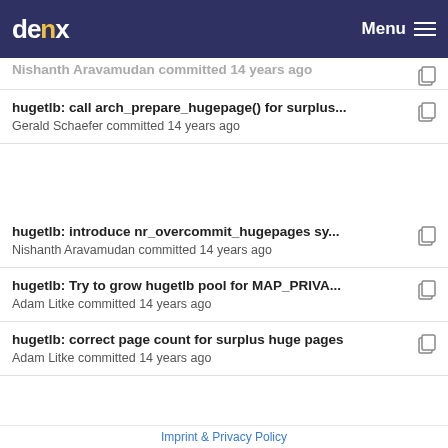denx Menu
hugetlb: call arch_prepare_hugepage() for surplus... Gerald Schaefer committed 14 years ago
hugetlb: introduce nr_overcommit_hugepages sy... Nishanth Aravamudan committed 14 years ago
hugetlb: Try to grow hugetlb pool for MAP_PRIVA... Adam Litke committed 14 years ago
hugetlb: correct page count for surplus huge pages Adam Litke committed 14 years ago
hugetlb: introduce...
Imprint & Privacy Policy